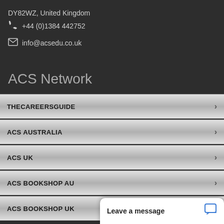DY82WZ, United Kingdom
+44 (0)1384 442752
info@acsedu.co.uk
ACS Network
THECAREERSGUIDE
ACS AUSTRALIA
ACS UK
ACS BOOKSHOP AU
ACS BOOKSHOP UK
Leave a message